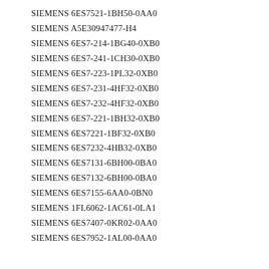SIEMENS 6ES7521-1BH50-0AA0
SIEMENS A5E30947477-H4
SIEMENS 6ES7-214-1BG40-0XB0
SIEMENS 6ES7-241-1CH30-0XB0
SIEMENS 6ES7-223-1PL32-0XB0
SIEMENS 6ES7-231-4HF32-0XB0
SIEMENS 6ES7-232-4HF32-0XB0
SIEMENS 6ES7-221-1BH32-0XB0
SIEMENS 6ES7221-1BF32-0XB0
SIEMENS 6ES7232-4HB32-0XB0
SIEMENS 6ES7131-6BH00-0BA0
SIEMENS 6ES7132-6BH00-0BA0
SIEMENS 6ES7155-6AA0-0BN0
SIEMENS 1FL6062-1AC61-0LA1
SIEMENS 6ES7407-0KR02-0AA0
SIEMENS 6ES7952-1AL00-0AA0